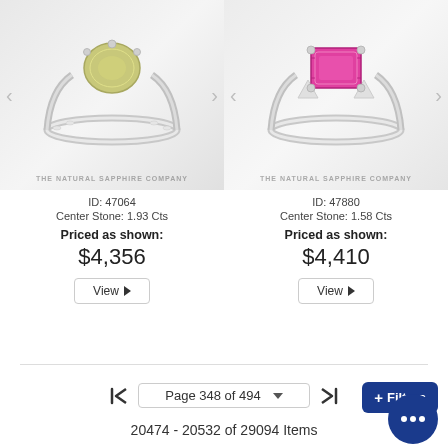[Figure (photo): Diamond ring with yellowish-green center stone on white background, watermark THE NATURAL SAPPHIRE COMPANY, ID 47064]
ID: 47064
Center Stone: 1.93 Cts
Priced as shown:
$4,356
View ▶
[Figure (photo): Pink sapphire emerald-cut ring with white side stones on white background, watermark THE NATURAL SAPPHIRE COMPANY, ID 47880]
ID: 47880
Center Stone: 1.58 Cts
Priced as shown:
$4,410
View ▶
Page 348 of 494
20474 - 20532 of 29094 Items